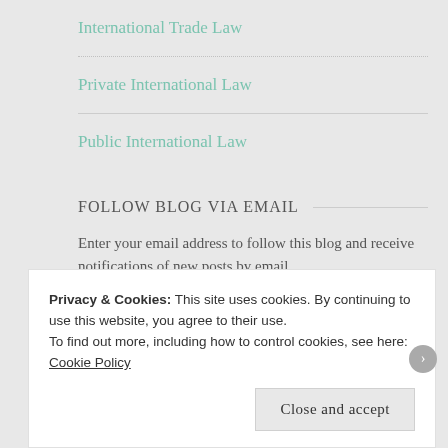International Trade Law
Private International Law
Public International Law
FOLLOW BLOG VIA EMAIL
Enter your email address to follow this blog and receive notifications of new posts by email.
Email Address
Privacy & Cookies: This site uses cookies. By continuing to use this website, you agree to their use.
To find out more, including how to control cookies, see here: Cookie Policy
Close and accept